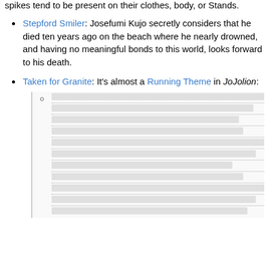spikes tend to be present on their clothes, body, or Stands.
Stepford Smiler: Josefumi Kujo secretly considers that he died ten years ago on the beach where he nearly drowned, and having no meaningful bonds to this world, looks forward to his death.
Taken for Granite: It's almost a Running Theme in JoJolion: [redacted sub-content]